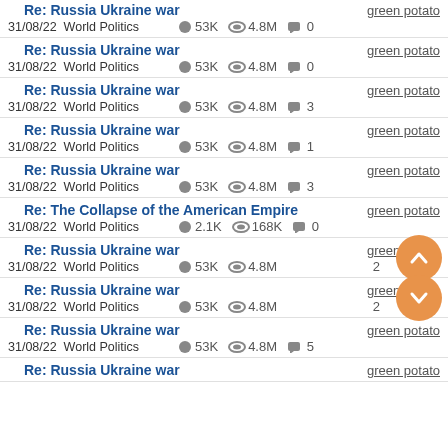Re: Russia Ukraine war | green potato | 31/08/22 World Politics | 53K | 4.8M | 0
Re: Russia Ukraine war | green potato | 31/08/22 World Politics | 53K | 4.8M | 0
Re: Russia Ukraine war | green potato | 31/08/22 World Politics | 53K | 4.8M | 3
Re: Russia Ukraine war | green potato | 31/08/22 World Politics | 53K | 4.8M | 1
Re: Russia Ukraine war | green potato | 31/08/22 World Politics | 53K | 4.8M | 3
Re: The Collapse of the American Empire | green potato | 31/08/22 World Politics | 2.1K | 168K | 0
Re: Russia Ukraine war | green potato | 31/08/22 World Politics | 53K | 4.8M | 2
Re: Russia Ukraine war | green potato | 31/08/22 World Politics | 53K | 4.8M | 2
Re: Russia Ukraine war | green potato | 31/08/22 World Politics | 53K | 4.8M | 5
Re: Russia Ukraine war | green potato